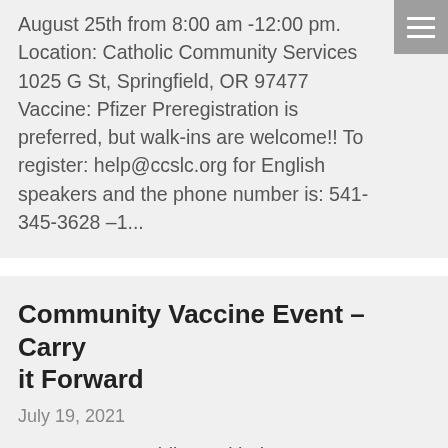August 25th from 8:00 am -12:00 pm. Location: Catholic Community Services 1025 G St, Springfield, OR 97477 Vaccine: Pfizer Preregistration is preferred, but walk-ins are welcome!! To register: help@ccslc.org for English speakers and the phone number is: 541-345-3628 –1...
Community Vaccine Event – Carry it Forward
July 19, 2021
Lane County Public Health, in partnership with Carry it Forward is hosting a COVID- 19 vaccine clinic at